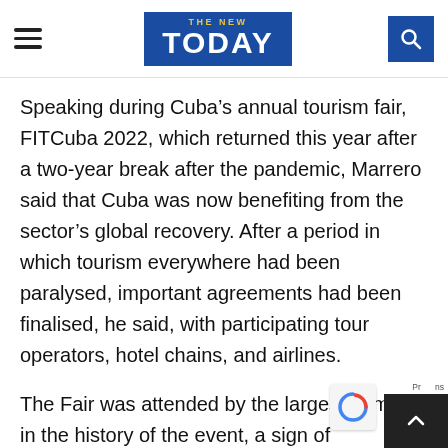THE NEW TODAY — navigation header with hamburger menu, logo, and search icon
Speaking during Cuba's annual tourism fair, FITCuba 2022, which returned this year after a two-year break after the pandemic, Marrero said that Cuba was now benefiting from the sector's global recovery. After a period in which tourism everywhere had been paralysed, important agreements had been finalised, he said, with participating tour operators, hotel chains, and airlines.
The Fair was attended by the largest number in the history of the event, a sign of confidence in the recovery of the sector in Cuba, Marrero, a form Minister of Tourism told the media.